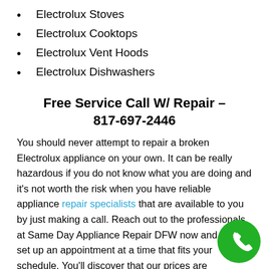Electrolux Stoves
Electrolux Cooktops
Electrolux Vent Hoods
Electrolux Dishwashers
Free Service Call W/ Repair – 817-697-2446
You should never attempt to repair a broken Electrolux appliance on your own. It can be really hazardous if you do not know what you are doing and it's not worth the risk when you have reliable appliance repair specialists that are available to you by just making a call. Reach out to the professionals at Same Day Appliance Repair DFW now and we can set up an appointment at a time that fits your schedule. You'll discover that our prices are reasonable